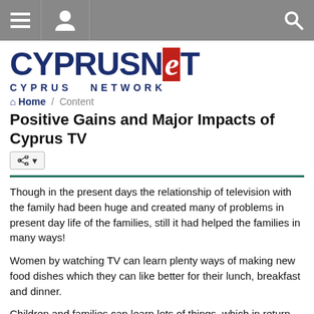CyprusNet - Cyprus Network navigation bar
[Figure (logo): CyprusNet logo with red box around 'e', subtitle CYPRUS NETWORK]
Home / Content
Positive Gains and Major Impacts of Cyprus TV
Though in the present days the relationship of television with the family had been huge and created many of problems in present day life of the families, still it had helped the families in many ways!
Women by watching TV can learn plenty ways of making new food dishes which they can like better for their lunch, breakfast and dinner.
Children and families can learn lots of things, which in return can help them for their general knowledge. Men and boys can also watch football matches without going to stadiums!
People which are watching TV can advertise on it and get gains for their business. They can also watch news from the whole globe through media. TV helps people to forget their daily problems and smile.
Main Impacts of TV: Television is one of the biggest influences of kids'